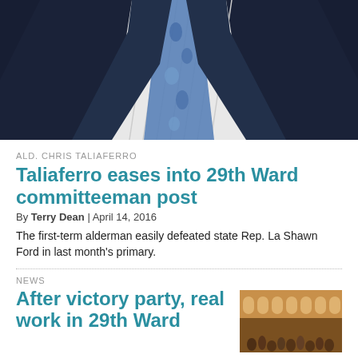[Figure (photo): Close-up photo of a man in a dark navy suit jacket with a white striped dress shirt and blue paisley tie, cropped at the chest/shoulder area.]
ALD. CHRIS TALIAFERRO
Taliaferro eases into 29th Ward committeeman post
By Terry Dean | April 14, 2016
The first-term alderman easily defeated state Rep. La Shawn Ford in last month's primary.
NEWS
After victory party, real work in 29th Ward
[Figure (photo): Thumbnail photo showing a large ornate building interior with arched windows and a crowd of people gathered inside.]